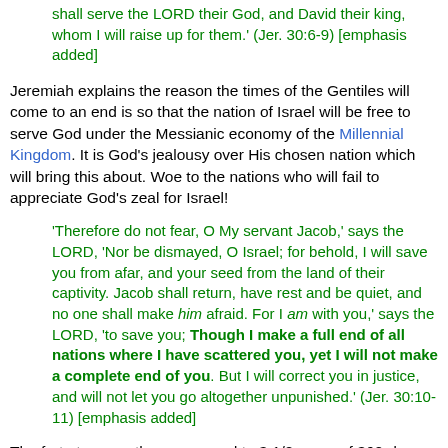shall serve the LORD their God, and David their king, whom I will raise up for them.' (Jer. 30:6-9) [emphasis added]
Jeremiah explains the reason the times of the Gentiles will come to an end is so that the nation of Israel will be free to serve God under the Messianic economy of the Millennial Kingdom. It is God's jealousy over His chosen nation which will bring this about. Woe to the nations who will fail to appreciate God's zeal for Israel!
'Therefore do not fear, O My servant Jacob,' says the LORD, 'Nor be dismayed, O Israel; for behold, I will save you from afar, and your seed from the land of their captivity. Jacob shall return, have rest and be quiet, and no one shall make him afraid. For I am with you,' says the LORD, 'to save you; Though I make a full end of all nations where I have scattered you, yet I will not make a complete end of you. But I will correct you in justice, and will not let you go altogether unpunished.' (Jer. 30:10-11) [emphasis added]
The forty-two months correspond to 3 1/2 years of 360-days each. See Prophetic Year.
[Figure (illustration): Bible book icon (gold/brown book with cross)]
[Figure (illustration): Speaker/audio icon (small square with arrow)]
3.11.3 - Revelation 11:3